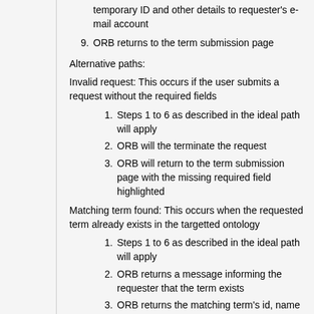temporary ID and other details to requester's e-mail account
9. ORB returns to the term submission page
Alternative paths:
Invalid request: This occurs if the user submits a request without the required fields
1. Steps 1 to 6 as described in the ideal path will apply
2. ORB will the terminate the request
3. ORB will return to the term submission page with the missing required field highlighted
Matching term found: This occurs when the requested term already exists in the targetted ontology
1. Steps 1 to 6 as described in the ideal path will apply
2. ORB returns a message informing the requester that the term exists
3. ORB returns the matching term's id, name and parent to the requester